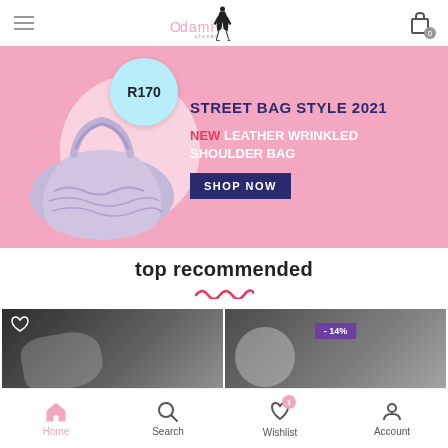[Figure (logo): Odami closet brand logo with female silhouette]
[Figure (photo): Pink promotional banner for Street Bag Style 2021 - New Leather Wrinkled Shoulder Bag priced at R170 with SHOP NOW button]
top recommended
[Figure (photo): Two product image cards showing fashion bags, one with -14% discount badge]
Home   Search   Wishlist   Account